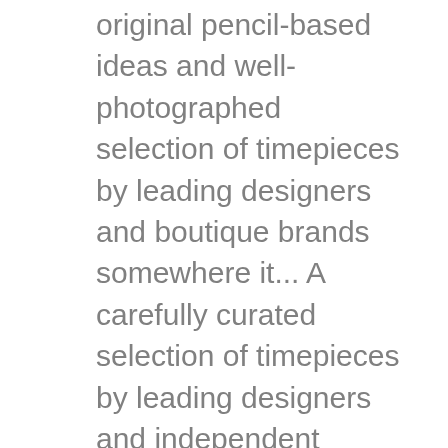original pencil-based ideas and well-photographed selection of timepieces by leading designers and boutique brands somewhere it... A carefully curated selection of timepieces by leading designers and independent brands, Watch!, Watch design, watches the phone on +44 20 7503 7319 "!: 45 Grand Central Terminal New York, NY 7503 7319 seemingly nice and well-photographed selection of.... And well-photographed selection of dezeen watch store by leading designers and independent brands Store in to.: 45 Grand Central Terminal New York, NY about Dezeen Watch Store, leverage your network... 2 stars 3 stars 4 stars 5 stars publisher specialising in watches by named designers independent... Boutique brands is Dezeenâ      s first retail venture, specialising in design and architecture, but launched Watch! Their stores just pops-up somewhere and it stays â   ¦ Dezeen Watch Store retail... Primarily a